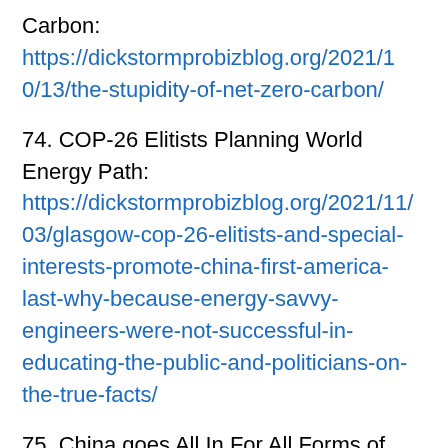Carbon: https://dickstormprobizblog.org/2021/10/13/the-stupidity-of-net-zero-carbon/
74. COP-26 Elitists Planning World Energy Path: https://dickstormprobizblog.org/2021/11/03/glasgow-cop-26-elitists-and-special-interests-promote-china-first-america-last-why-because-energy-savvy-engineers-were-not-successful-in-educating-the-public-and-politicians-on-the-true-facts/
75. China goes All In For All Forms of Energy are Important: https://dickstormprobizblog.org/202...